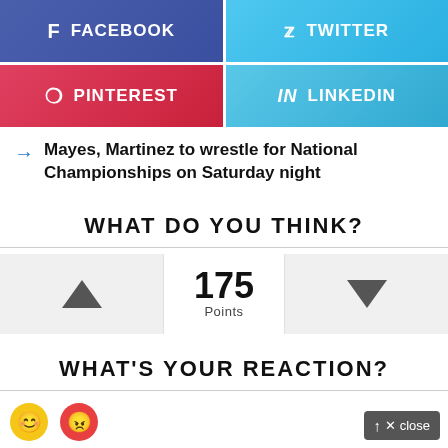[Figure (screenshot): Social media share buttons: Facebook (blue-purple), Twitter (light blue), Pinterest (red), LinkedIn (light blue)]
Mayes, Martinez to wrestle for National Championships on Saturday night
WHAT DO YOU THINK?
175 Points
WHAT'S YOUR REACTION?